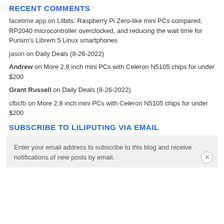RECENT COMMENTS
facetime app on Lilbits: Raspberry Pi Zero-like mini PCs compared, RP2040 microcontroller overclocked, and reducing the wait time for Purism's Librem 5 Linux smartphones
jason on Daily Deals (8-26-2022)
Andrew on More 2.8 inch mini PCs with Celeron N5105 chips for under $200
Grant Russell on Daily Deals (8-26-2022)
cfbcfb on More 2.8 inch mini PCs with Celeron N5105 chips for under $200
SUBSCRIBE TO LILIPUTING VIA EMAIL
Enter your email address to subscribe to this blog and receive notifications of new posts by email.